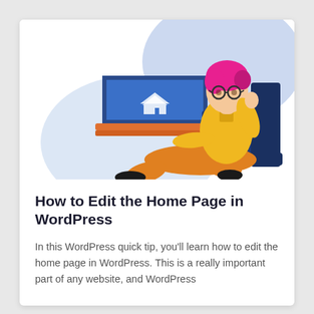[Figure (illustration): Illustration of a person with pink hair and glasses wearing a yellow shirt and orange pants, sitting on a dark blue couch/chair, working on a laptop that displays a house icon on screen. Orange desk visible. Light blue blob background shapes.]
How to Edit the Home Page in WordPress
In this WordPress quick tip, you'll learn how to edit the home page in WordPress. This is a really important part of any website, and WordPress